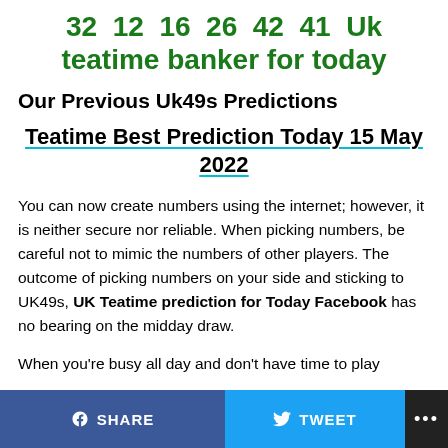32  12  16  26  42  41  Uk teatime banker for today
Our Previous Uk49s Predictions
Teatime Best Prediction Today 15 May 2022
You can now create numbers using the internet; however, it is neither secure nor reliable. When picking numbers, be careful not to mimic the numbers of other players. The outcome of picking numbers on your side and sticking to UK49s, UK Teatime prediction for Today Facebook has no bearing on the midday draw.
When you're busy all day and don't have time to play
SHARE   TWEET   ...